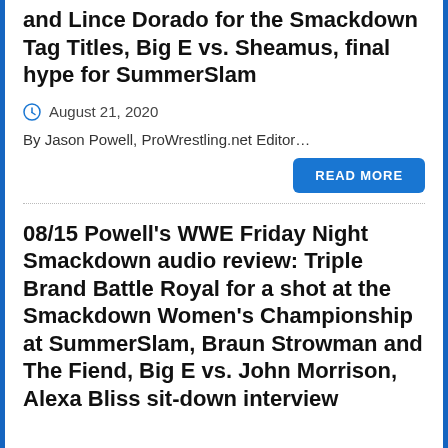and Lince Dorado for the Smackdown Tag Titles, Big E vs. Sheamus, final hype for SummerSlam
August 21, 2020
By Jason Powell, ProWrestling.net Editor…
READ MORE
08/15 Powell's WWE Friday Night Smackdown audio review: Triple Brand Battle Royal for a shot at the Smackdown Women's Championship at SummerSlam, Braun Strowman and The Fiend, Big E vs. John Morrison, Alexa Bliss sit-down interview